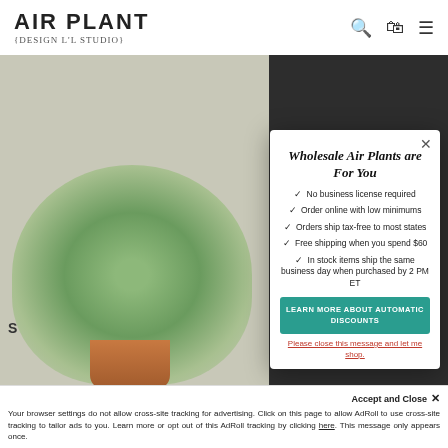[Figure (screenshot): Air Plant Design Studio website header with logo and navigation icons]
[Figure (photo): Air plant in a copper pot on white background]
Wholesale Air Plants are For You
✓ No business license required
✓ Order online with low minimums
✓ Orders ship tax-free to most states
✓ Free shipping when you spend $60
✓ In stock items ship the same business day when purchased by 2 PM ET
LEARN MORE ABOUT AUTOMATIC DISCOUNTS
Please close this message and let me shop.
Accept and Close ✕
Your browser settings do not allow cross-site tracking for advertising. Click on this page to allow AdRoll to use cross-site tracking to tailor ads to you. Learn more or opt out of this AdRoll tracking by clicking here. This message only appears once.